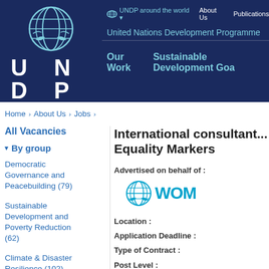[Figure (logo): UNDP logo - UN emblem above U N D P letters in grid on dark blue background]
UNDP around the world ▾   About Us   Publications
United Nations Development Programme
Our Work   Sustainable Development Goa...
Home > About Us > Jobs >
All Vacancies
▾ By group
Democratic Governance and Peacebuilding (79)
Sustainable Development and Poverty Reduction (62)
Climate & Disaster Resilience (102)
International consultant... Equality Markers
Advertised on behalf of :
[Figure (logo): UN Women logo - UN emblem and WOM... text in cyan/light blue]
Location :
Application Deadline :
Type of Contract :
Post Level :